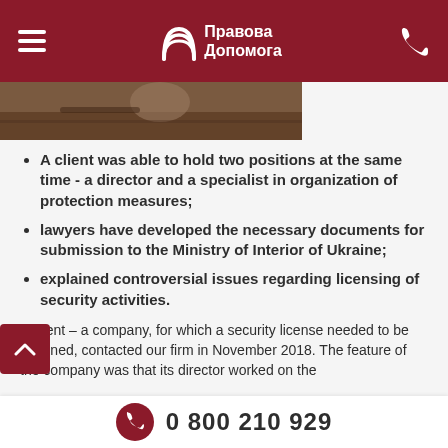Правова Допомога
[Figure (photo): Partial photo of a person at a desk, dark wood surface visible]
A client was able to hold two positions at the same time - a director and a specialist in organization of protection measures;
lawyers have developed the necessary documents for submission to the Ministry of Interior of Ukraine;
explained controversial issues regarding licensing of security activities.
A client – a company, for which a security license needed to be obtained, contacted our firm in November 2018. The feature of the company was that its director worked on the
0 800 210 929